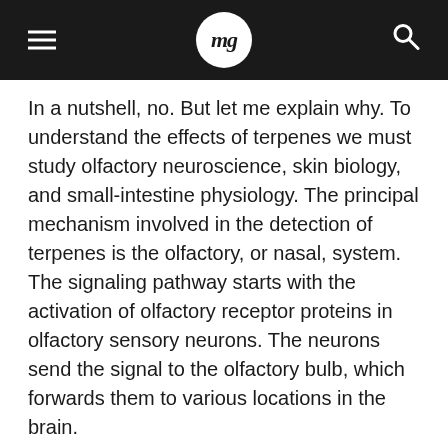mg
In a nutshell, no. But let me explain why. To understand the effects of terpenes we must study olfactory neuroscience, skin biology, and small-intestine physiology. The principal mechanism involved in the detection of terpenes is the olfactory, or nasal, system. The signaling pathway starts with the activation of olfactory receptor proteins in olfactory sensory neurons. The neurons send the signal to the olfactory bulb, which forwards them to various locations in the brain.
Studies have found aromatic molecules (like terpenes) can affect behaviors and physiological conditions. The neuroendocrine system that produces hormones in the brain and the endocrine system that produces hormones in the rest of the body are involved in regulating olfactory learning